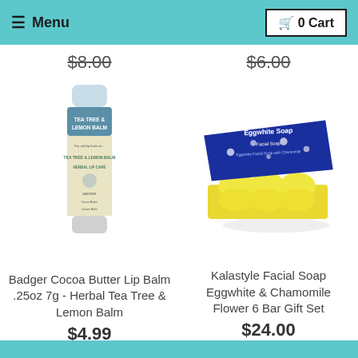≡ Menu    🛒 0 Cart
$8.00
$6.00
[Figure (photo): Photo of Badger Cocoa Butter Lip Balm .25oz Tea Tree & Lemon Balm product tube]
Badger Cocoa Butter Lip Balm .25oz 7g - Herbal Tea Tree & Lemon Balm
$4.99
[Figure (photo): Photo of Kalastyle Facial Soap Eggwhite & Chamomile Flower 6 Bar Gift Set in blue and yellow box]
Kalastyle Facial Soap Eggwhite & Chamomile Flower 6 Bar Gift Set
$24.00